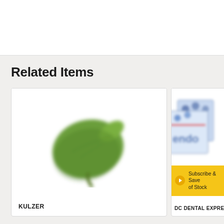Related Items
[Figure (photo): Green leaf-shaped dental product by Kulzer on white background]
KULZER
[Figure (photo): Partially visible blue and white dental product box by DC Dental Express with a yellow Subscribe & Save badge]
Subscribe & Save of Stock
DC DENTAL EXPRES